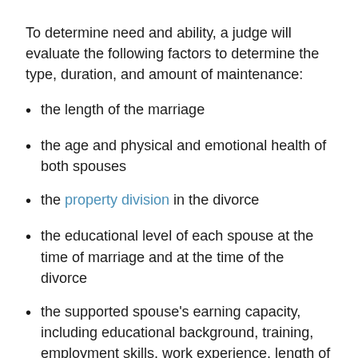To determine need and ability, a judge will evaluate the following factors to determine the type, duration, and amount of maintenance:
the length of the marriage
the age and physical and emotional health of both spouses
the property division in the divorce
the educational level of each spouse at the time of marriage and at the time of the divorce
the supported spouse's earning capacity, including educational background, training, employment skills, work experience, length of absence from the job market, custodial responsibilities for children, and the time and expense necessary to acquire